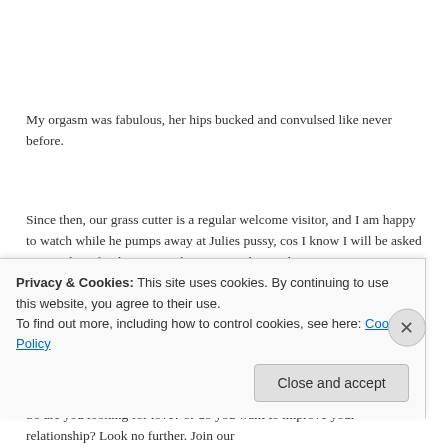My orgasm was fabulous, her hips bucked and convulsed like never before.
Since then, our grass cutter is a regular welcome visitor, and I am happy to watch while he pumps away at Julies pussy, cos I know I will be asked to punish it after because its been a naugthyspunky cum pussy.
THIS IS THE END OF STORY
So are you looking for love? or do you want to improve your relationship? Look no further. Join our
Privacy & Cookies: This site uses cookies. By continuing to use this website, you agree to their use.
To find out more, including how to control cookies, see here: Cookie Policy
Close and accept